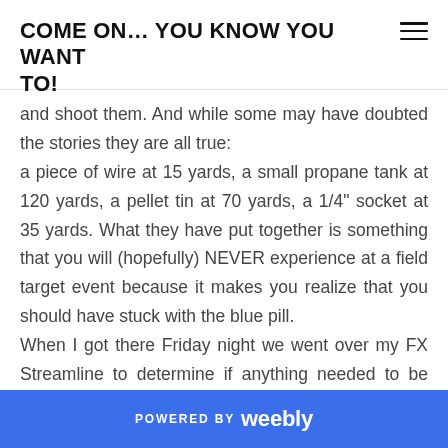COME ON... YOU KNOW YOU WANT TO!
and shoot them. And while some may have doubted the stories they are all true:
a piece of wire at 15 yards, a small propane tank at 120 yards, a pellet tin at 70 yards, a 1/4" socket at 35 yards. What they have put together is something that you will (hopefully) NEVER experience at a field target event because it makes you realize that you should have stuck with the blue pill.
When I got there Friday night we went over my FX Streamline to determine if anything needed to be done to it. Saturday we got up and went out
POWERED BY weebly